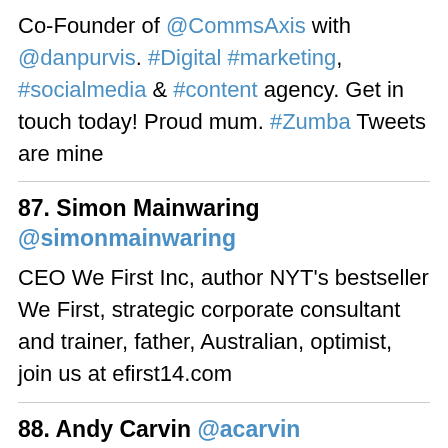Co-Founder of @CommsAxis with @danpurvis. #Digital #marketing, #socialmedia & #content agency. Get in touch today! Proud mum. #Zumba Tweets are mine
87. Simon Mainwaring @simonmainwaring
CEO We First Inc, author NYT’s bestseller We First, strategic corporate consultant and trainer, father, Australian, optimist, join us at efirst14.com
88. Andy Carvin @acarvin
Real-time news DJ & occasional journalist, but